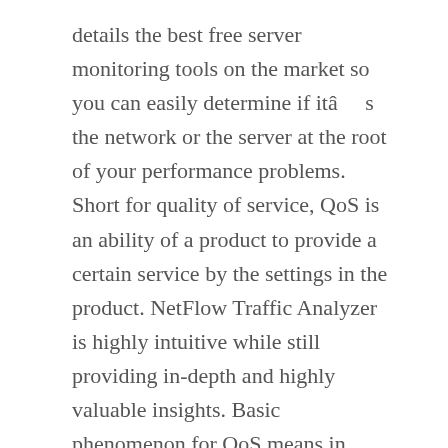details the best free server monitoring tools on the market so you can easily determine if itâs the network or the server at the root of your performance problems. Short for quality of service, QoS is an ability of a product to provide a certain service by the settings in the product. NetFlow Traffic Analyzer is highly intuitive while still providing in-depth and highly valuable insights. Basic phenomenon for QoS means in terms of packet delay and losses of various kinds. Best Network Troubleshooting Tools in 2020. In other words, an administrator may set a higher priority on internal network traffic opposed to external traffic. QCI value 9 is typically used for the default bearer of a UE/PDN for non privileged subscribers. If you use values equal to or larger than the maximum capacity of your connection then you give the QoS handler no